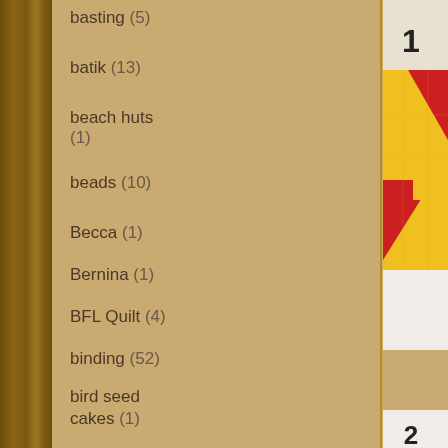basting (5)
batik (13)
beach huts (1)
beads (10)
Becca (1)
Bernina (1)
BFL Quilt (4)
binding (52)
bird seed cakes (1)
birthday (17)
black white (2)
[Figure (photo): Close-up photo of a quilted cross-stitch block in yellow and red colors, labeled with number 1, showing a half-square triangle block partially assembled]
This is the start of the 'plonk' method hidden by the fusible bias
[Figure (photo): Partial photo of a quilted fabric piece with a teal border, labeled with number 2]